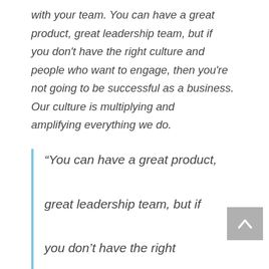with your team. You can have a great product, great leadership team, but if you don't have the right culture and people who want to engage, then you're not going to be successful as a business. Our culture is multiplying and amplifying everything we do.
“You can have a great product, great leadership team, but if you don’t have the right culture and people who want to engage then you’re not